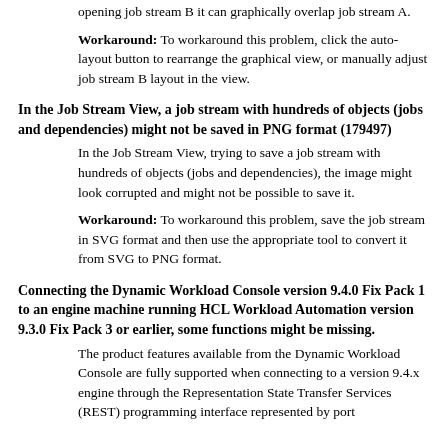opening job stream B it can graphically overlap job stream A.
Workaround: To workaround this problem, click the auto-layout button to rearrange the graphical view, or manually adjust job stream B layout in the view.
In the Job Stream View, a job stream with hundreds of objects (jobs and dependencies) might not be saved in PNG format (179497)
In the Job Stream View, trying to save a job stream with hundreds of objects (jobs and dependencies), the image might look corrupted and might not be possible to save it.
Workaround: To workaround this problem, save the job stream in SVG format and then use the appropriate tool to convert it from SVG to PNG format.
Connecting the Dynamic Workload Console version 9.4.0 Fix Pack 1 to an engine machine running HCL Workload Automation version 9.3.0 Fix Pack 3 or earlier, some functions might be missing.
The product features available from the Dynamic Workload Console are fully supported when connecting to a version 9.4.x engine through the Representation State Transfer Services (REST) programming interface represented by port